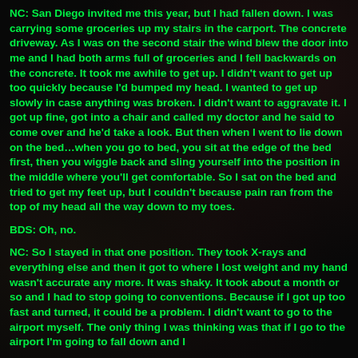NC:  San Diego invited me this year, but I had fallen down.  I was carrying some groceries up my stairs in the carport.  The concrete driveway.  As I was on the second stair the wind blew the door into me and I had both arms full of groceries and I fell backwards on the concrete.  It took me awhile to get up.  I didn't want to get up too quickly because I'd bumped my head.  I wanted to get up slowly in case anything was broken.  I didn't want to aggravate it.  I got up fine, got into a chair and called my doctor and he said to come over and he'd take a look.  But then when I went to lie down on the bed…when you go to bed, you sit at the edge of the bed first, then you wiggle back and sling yourself into the position in the middle where you'll get comfortable.  So I sat on the bed and tried to get my feet up, but I couldn't because pain ran from the top of my head all the way down to my toes.
BDS:  Oh, no.
NC:  So I stayed in that one position.  They took X-rays and everything else and then it got to where I lost weight and my hand wasn't accurate any more.  It was shaky.  It took about a month or so and I had to stop going to conventions.  Because if I got up too fast and turned, it could be a problem.  I didn't want to go to the airport myself.  The only thing I was thinking was that if I go to the airport I'm going to fall down and I